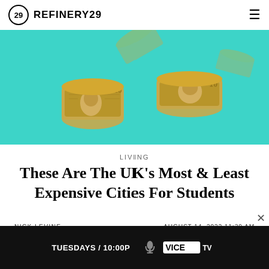REFINERY29
[Figure (photo): Two rolled-up British £10 banknotes on a bright teal/cyan background, with scattered notes in the background.]
LIVING
These Are The UK's Most & Least Expensive Cities For Students
NICK LEVINE   AUGUST 14, 2022 11:39 AM
[Figure (other): Advertisement banner: VICE TV - TUESDAYS / 10:00P with microphone icon and VICE TV logo]